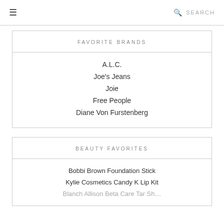☰  🔍 SEARCH
FAVORITE BRANDS
A.L.C.
Joe's Jeans
Joie
Free People
Diane Von Furstenberg
BEAUTY FAVORITES
Bobbi Brown Foundation Stick
Kylie Cosmetics Candy K Lip Kit
Blanch Allison Beta Care Tar Sh…